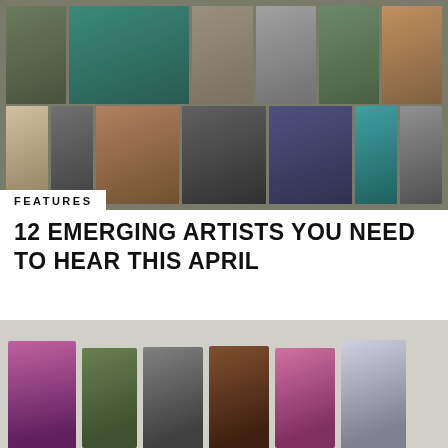[Figure (photo): Collage of 12 emerging musical artists in various portrait and group photos arranged in a grid on a textured background]
FEATURES
12 EMERGING ARTISTS YOU NEED TO HEAR THIS APRIL
[Figure (photo): Second collage showing portraits of emerging artists against a light grey background, arranged in a row of tilted portrait-style photos]